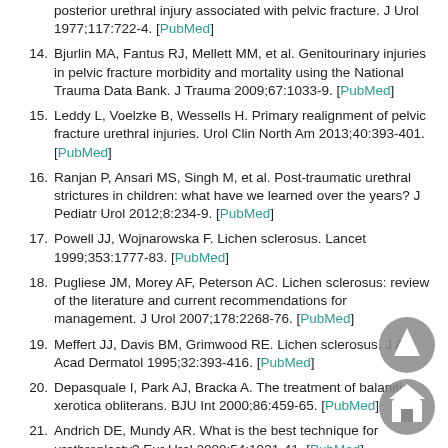posterior urethral injury associated with pelvic fracture. J Urol 1977;117:722-4. [PubMed]
14. Bjurlin MA, Fantus RJ, Mellett MM, et al. Genitourinary injuries in pelvic fracture morbidity and mortality using the National Trauma Data Bank. J Trauma 2009;67:1033-9. [PubMed]
15. Leddy L, Voelzke B, Wessells H. Primary realignment of pelvic fracture urethral injuries. Urol Clin North Am 2013;40:393-401. [PubMed]
16. Ranjan P, Ansari MS, Singh M, et al. Post-traumatic urethral strictures in children: what have we learned over the years? J Pediatr Urol 2012;8:234-9. [PubMed]
17. Powell JJ, Wojnarowska F. Lichen sclerosus. Lancet 1999;353:1777-83. [PubMed]
18. Pugliese JM, Morey AF, Peterson AC. Lichen sclerosus: review of the literature and current recommendations for management. J Urol 2007;178:2268-76. [PubMed]
19. Meffert JJ, Davis BM, Grimwood RE. Lichen sclerosus. J Am Acad Dermatol 1995;32:393-416. [PubMed]
20. Depasquale I, Park AJ, Bracka A. The treatment of balanitis xerotica obliterans. BJU Int 2000;86:459-65. [PubMed]
21. Andrich DE, Mundy AR. What is the best technique for urethroplasty? Eur Urol 2008;54:1031-41. [PubMed]
22. Park R, Martin S, Goldberg JD, et al. Anastomotic strictures following radical prostatectomy: insights into incidence